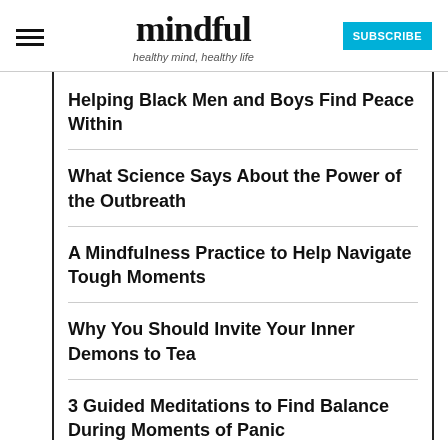mindful — healthy mind, healthy life — SUBSCRIBE
Helping Black Men and Boys Find Peace Within
What Science Says About the Power of the Outbreath
A Mindfulness Practice to Help Navigate Tough Moments
Why You Should Invite Your Inner Demons to Tea
3 Guided Meditations to Find Balance During Moments of Panic
How Mindfulness Meditation Eases the Anxiety and Challenges of ADHD